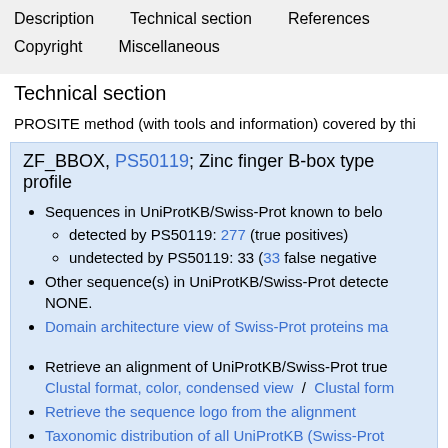Description   Technical section   References   Copyright   Miscellaneous
Technical section
PROSITE method (with tools and information) covered by thi
ZF_BBOX, PS50119; Zinc finger B-box type profile
Sequences in UniProtKB/Swiss-Prot known to belo
detected by PS50119: 277 (true positives)
undetected by PS50119: 33 (33 false negative
Other sequence(s) in UniProtKB/Swiss-Prot detecte NONE.
Domain architecture view of Swiss-Prot proteins ma
Retrieve an alignment of UniProtKB/Swiss-Prot true Clustal format, color, condensed view / Clustal form
Retrieve the sequence logo from the alignment
Taxonomic distribution of all UniProtKB (Swiss-Prot
Retrieve a list of all UniProtKB (Swiss-Prot + TrEMB